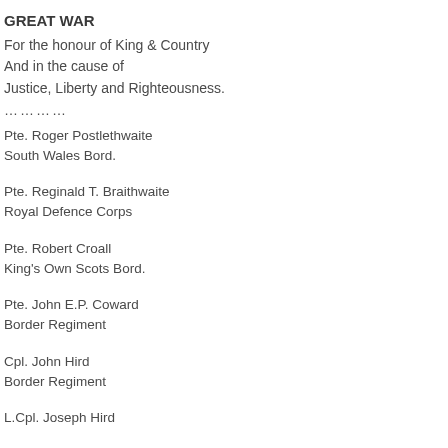GREAT WAR
For the honour of King & Country
And in the cause of
Justice, Liberty and Righteousness.
…………
Pte. Roger Postlethwaite
South Wales Bord.
Pte. Reginald T. Braithwaite
Royal Defence Corps
Pte. Robert Croall
King's Own Scots Bord.
Pte. John E.P. Coward
Border Regiment
Cpl. John Hird
Border Regiment
L.Cpl. Joseph Hird